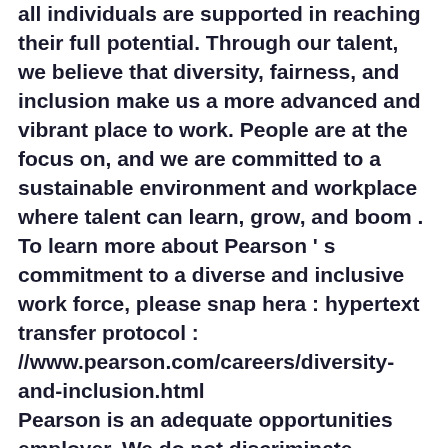all individuals are supported in reaching their full potential. Through our talent, we believe that diversity, fairness, and inclusion make us a more advanced and vibrant place to work. People are at the focus on, and we are committed to a sustainable environment and workplace where talent can learn, grow, and boom . To learn more about Pearson ' s commitment to a diverse and inclusive work force, please snap hera : hypertext transfer protocol : //www.pearson.com/careers/diversity-and-inclusion.html Pearson is an adequate opportunities employer. We do not discriminate against employees or subcontract applicants and select the best person for each job based on relevant skills and experience . We are besides committed to building an